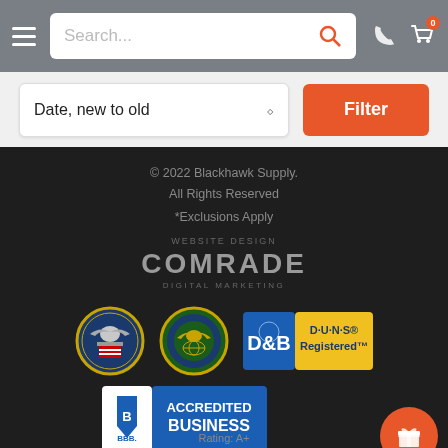Search... [navigation bar with hamburger menu, search box, phone icon, cart icon]
Date, new to old
Filter
© 2022 Blackhawk Supply. All Rights Reserved
*Exclusions Apply
WEBSITE DESIGN
COMRADE
DIGITAL MARKETING
[Figure (logo): US Department of Labor seal (eagle with shield and stars)]
[Figure (logo): Small Business Administration seal (eagle on globe)]
[Figure (logo): D&B D-U-N-S Registered badge (blue and yellow)]
[Figure (logo): BBB Accredited Business badge (blue and white)]
Rating: A+